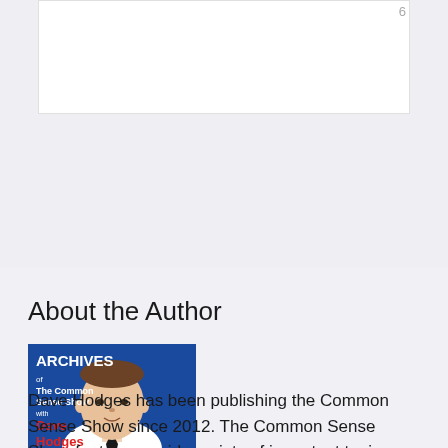6
About the Author
[Figure (photo): Author photo: book cover image for 'ARCHIVES of The Common Sense Show with Dave Hodges', showing a man in white shirt and tie against a blue background.]
Dave Hodges has been publishing the Common Sense Show since 2012. The Common Sense Show features a wide variety of important topics that range from the loss